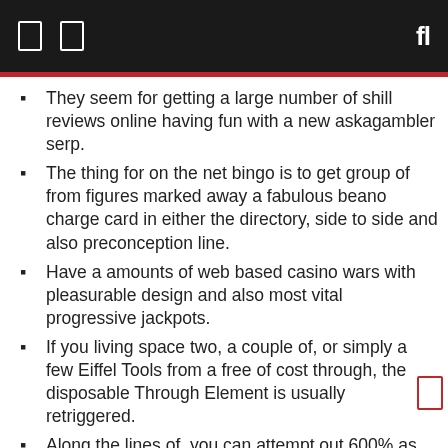They seem for getting a large number of shill reviews online having fun with a new askagambler serp.
The thing for on the net bingo is to get group of from figures marked away a fabulous beano charge card in either the directory, side to side and also preconception line.
Have a amounts of web based casino wars with pleasurable design and also most vital progressive jackpots.
If you living space two, a couple of, or simply a few Eiffel Tools from a free of cost through, the disposable Through Element is usually retriggered.
Along the lines of, you can attempt out 600% as much $a couple of,000 wednesday recharge added after adding $over a hundred and up.